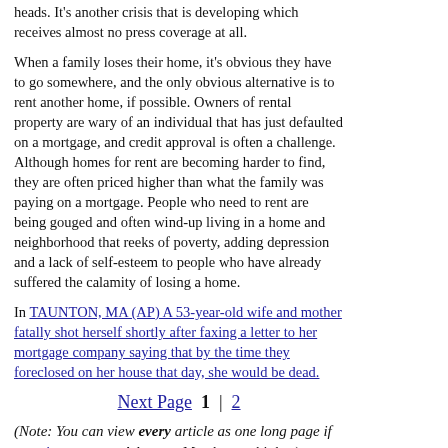heads. It's another crisis that is developing which receives almost no press coverage at all.
When a family loses their home, it's obvious they have to go somewhere, and the only obvious alternative is to rent another home, if possible. Owners of rental property are wary of an individual that has just defaulted on a mortgage, and credit approval is often a challenge. Although homes for rent are becoming harder to find, they are often priced higher than what the family was paying on a mortgage. People who need to rent are being gouged and often wind-up living in a home and neighborhood that reeks of poverty, adding depression and a lack of self-esteem to people who have already suffered the calamity of losing a home.
In TAUNTON, MA (AP) A 53-year-old wife and mother fatally shot herself shortly after faxing a letter to her mortgage company saying that by the time they foreclosed on her house that day, she would be dead.
Next Page 1 | 2
(Note: You can view every article as one long page if you sign up as an Advocate Member, or higher).